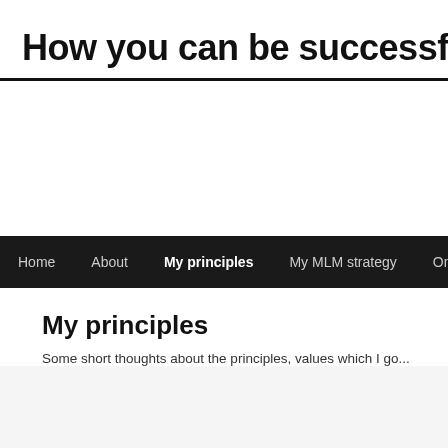How you can be successful in
Home  About  My principles  My MLM strategy  Online network
My principles
Some short thoughts about the principles, values which I go...